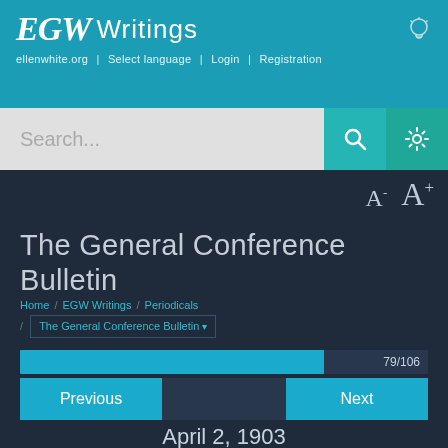EGW Writings — ellenwhite.org | Select language | Login | Registration
[Figure (screenshot): Search bar with teal search and settings buttons]
The General Conference Bulletin
Home / EGW Writings / Periodicals / The General Conference Bulletin
79/106
Previous    Next
April 2, 1903